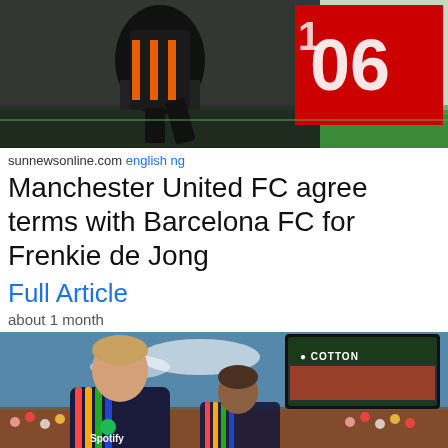[Figure (photo): Soccer player in black and orange Netherlands kit taking a shot, with a red scoreboard showing '106' in the background, green pitch visible at bottom]
sunnewsonline.com english ng
Manchester United FC agree terms with Barcelona FC for Frenkie de Jong
Full Article
about 1 month
[Figure (photo): Frenkie de Jong and another player in dark Barcelona Spotify pre-season kit walking on pitch, stadium crowd and Cotton Bowl scoreboard in background]